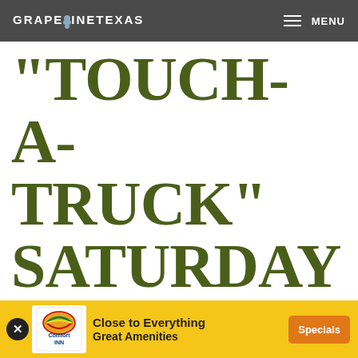GRAPEVINE TEXAS — MENU
"TOUCH-A-TRUCK" SATURDAY AT G
[Figure (advertisement): Comfort Inn advertisement banner with logo, text 'Close to Everything Great Amenities' and orange 'Specials' button]